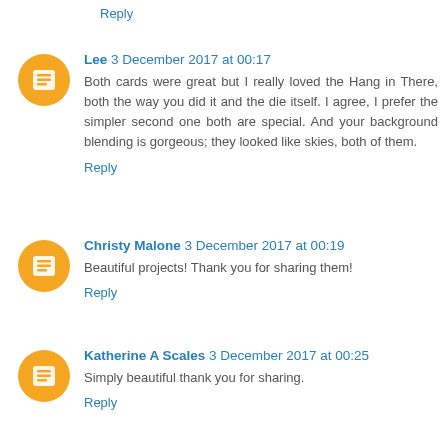Reply
Lee 3 December 2017 at 00:17
Both cards were great but I really loved the Hang in There, both the way you did it and the die itself. I agree, I prefer the simpler second one both are special. And your background blending is gorgeous; they looked like skies, both of them.
Reply
Christy Malone 3 December 2017 at 00:19
Beautiful projects! Thank you for sharing them!
Reply
Katherine A Scales 3 December 2017 at 00:25
Simply beautiful thank you for sharing.
Reply